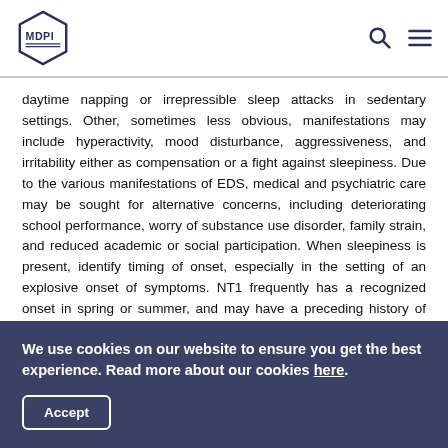MDPI
daytime napping or irrepressible sleep attacks in sedentary settings. Other, sometimes less obvious, manifestations may include hyperactivity, mood disturbance, aggressiveness, and irritability either as compensation or a fight against sleepiness. Due to the various manifestations of EDS, medical and psychiatric care may be sought for alternative concerns, including deteriorating school performance, worry of substance use disorder, family strain, and reduced academic or social participation. When sleepiness is present, identify timing of onset, especially in the setting of an explosive onset of symptoms. NT1 frequently has a recognized onset in spring or summer, and may have a preceding history of upper respiratory
We use cookies on our website to ensure you get the best experience. Read more about our cookies here.
Accept